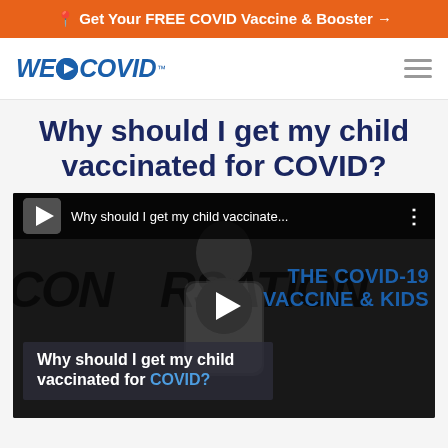📍 Get Your FREE COVID Vaccine & Booster →
[Figure (logo): WE>COVID logo with arrow icon in circle]
Why should I get my child vaccinated for COVID?
[Figure (screenshot): YouTube-style video thumbnail showing a medical professional. Title bar reads 'Why should I get my child vaccinate...' with menu dots. Background text reads 'CONVERSATION' and 'THE COVID-19 VACCINE & KIDS'. Center play button visible. Bottom caption: 'Why should I get my child vaccinated for COVID?']